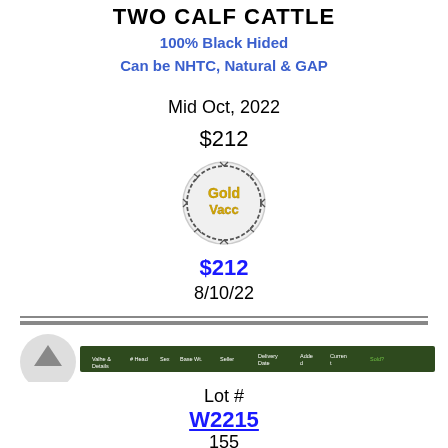TWO CALF CATTLE
100% Black Hided
Can be NHTC, Natural & GAP
Mid Oct, 2022
$212
[Figure (logo): Gold Vacc circular logo with barbed wire border]
$212
8/10/22
[Figure (screenshot): Table header bar showing columns: Valhe & Details, # Head, Sex, Base Wt., Seller, Delivery Date, Adde d, Current Price, Sold?]
Lot #
W2215
155